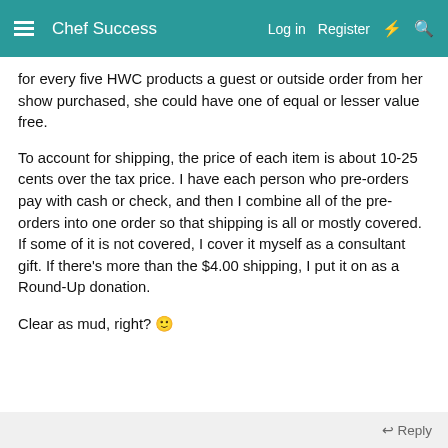Chef Success  Log in  Register
for every five HWC products a guest or outside order from her show purchased, she could have one of equal or lesser value free.

To account for shipping, the price of each item is about 10-25 cents over the tax price. I have each person who pre-orders pay with cash or check, and then I combine all of the pre-orders into one order so that shipping is all or mostly covered. If some of it is not covered, I cover it myself as a consultant gift. If there's more than the $4.00 shipping, I put it on as a Round-Up donation.

Clear as mud, right? 🙂
Reply